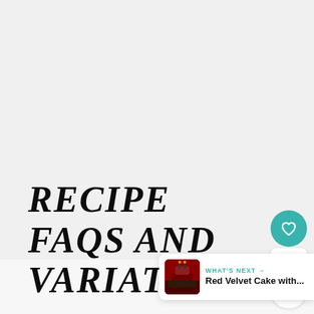RECIPE FAQS AND VARIATIONS
[Figure (infographic): Circular teal heart/like button with white heart icon, count of 89, and circular white share button with social share icon]
[Figure (infographic): What's Next panel showing Red Velvet Cake with... thumbnail and teal arrow label]